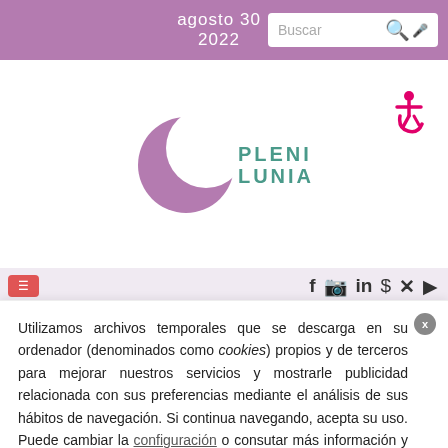agosto 30 2022
[Figure (logo): Plenilunia logo: purple crescent moon shape with teal text PLENI LUNIA]
[Figure (other): Accessibility icon (wheelchair symbol) in pink, top right]
[Figure (other): Social media icons bar: Facebook, Instagram, LinkedIn, Pinterest, Twitter, YouTube]
Utilizamos archivos temporales que se descarga en su ordenador (denominados como cookies) propios y de terceros para mejorar nuestros servicios y mostrarle publicidad relacionada con sus preferencias mediante el análisis de sus hábitos de navegación. Si continua navegando, acepta su uso. Puede cambiar la configuración o consutar más información y detalles en la página de políticas de archivos temporales.